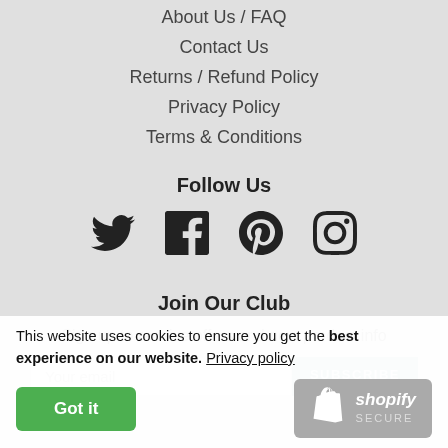About Us / FAQ
Contact Us
Returns / Refund Policy
Privacy Policy
Terms & Conditions
Follow Us
[Figure (other): Social media icons: Twitter, Facebook, Pinterest, Instagram]
Join Our Club
Sign up to receive offers and new product info
Your email
SUBSCRIBE
This website uses cookies to ensure you get the best experience on our website. Privacy policy
Got it